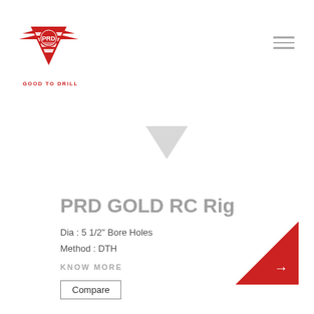[Figure (logo): PRD logo — red triangle/wing shape with PRD text inside and 'GOOD TO DRILL' tagline below]
[Figure (illustration): Light gray downward-pointing triangle/arrow shape in the upper-center area]
PRD GOLD RC Rig
Dia : 5 1/2" Bore Holes
Method : DTH
KNOW MORE
Compare
[Figure (illustration): Red right-triangle in bottom-right corner with a white right-arrow symbol]